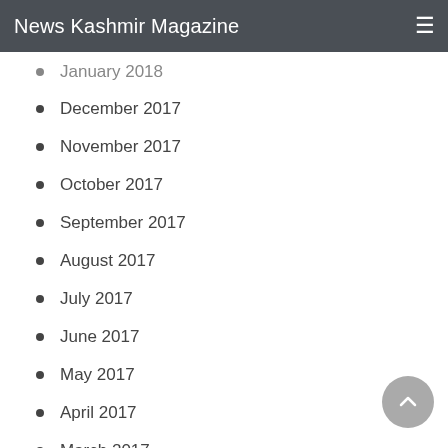News Kashmir Magazine
January 2018
December 2017
November 2017
October 2017
September 2017
August 2017
July 2017
June 2017
May 2017
April 2017
March 2017
February 2017
January 2017